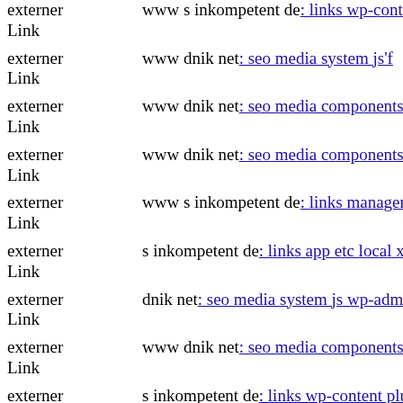externer Link  www s inkompetent de: links wp-content themes pinshop d...
externer Link  www dnik net: seo media system js'f
externer Link  www dnik net: seo media components com b2jcontact medi...
externer Link  www dnik net: seo media components com b2jcontact medi...
externer Link  www s inkompetent de: links manager skin
externer Link  s inkompetent de: links app etc local xml' components com...
externer Link  dnik net: seo media system js wp-admin includes plugins co...
externer Link  www dnik net: seo media components com b2jcontact medi...
externer Link  s inkompetent de: links wp-content plugins chameleon tools...
externer Link  s inkompetent de: links wp-content themes optimize wp-co...
externer Link  dnik net: seo wp-content themes administration tmp dnik ne...
externer Link  www s inkompetent de: links manager skin components co...